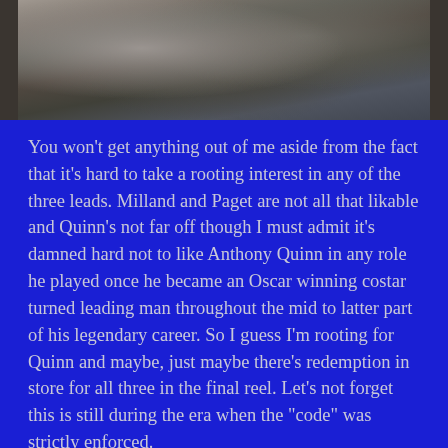[Figure (photo): Black and white photograph showing figures reclining, partially visible at top of page, cropped at the bottom.]
You won't get anything out of me aside from the fact that it's hard to take a rooting interest in any of the three leads. Milland and Paget are not all that likable and Quinn's not far off though I must admit it's damned hard not to like Anthony Quinn in any role he played once he became an Oscar winning costar turned leading man throughout the mid to latter part of his legendary career. So I guess I'm rooting for Quinn and maybe, just maybe there's redemption in store for all three in the final reel. Let's not forget this is still during the era when the "code" was strictly enforced.